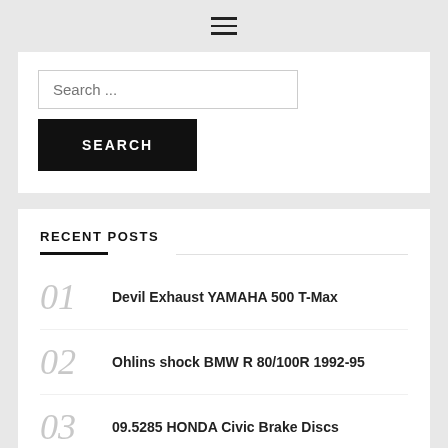[Figure (other): Hamburger menu icon (three horizontal lines)]
Search ...
SEARCH
RECENT POSTS
01 Devil Exhaust YAMAHA 500 T-Max
02 Ohlins shock BMW R 80/100R 1992-95
03 09.5285 HONDA Civic Brake Discs